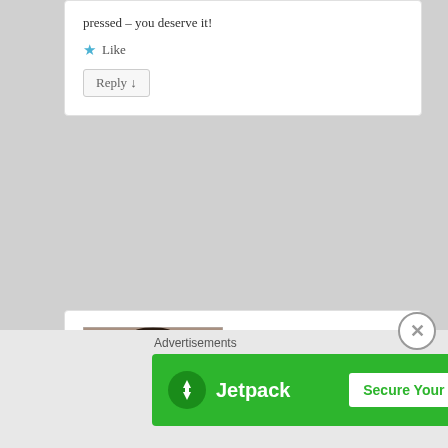pressed – you deserve it!
Like
Reply ↓
[Figure (photo): Profile photo of a young woman in a car, selfie style]
Mari on 2012-12-13 at 20:15 said:
So tugging so warming to ones heart. YOU are so real, so beautiful for this. Congratulations on this wonderful post – true meaning of Christmas.
Advertisements
[Figure (logo): Jetpack banner advertisement with logo and 'Secure Your Site' button]